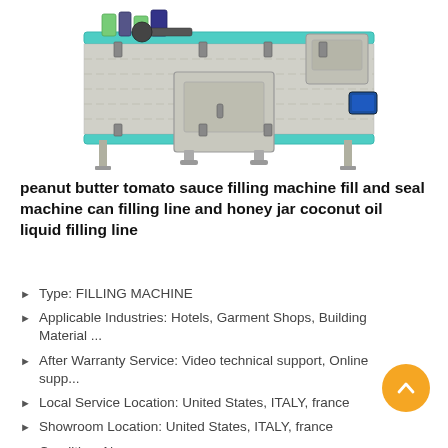[Figure (photo): Industrial filling and sealing machine with a conveyor belt (teal/green), central cabinet, and mechanical components, on a white background.]
peanut butter tomato sauce filling machine fill and seal machine can filling line and honey jar coconut oil liquid filling line
Type: FILLING MACHINE
Applicable Industries: Hotels, Garment Shops, Building Material ...
After Warranty Service: Video technical support, Online supp...
Local Service Location: United States, ITALY, france
Showroom Location: United States, ITALY, france
Condition: New
Application: BEVERAGE, CHEMICAL, commodity, Food, Machinery...